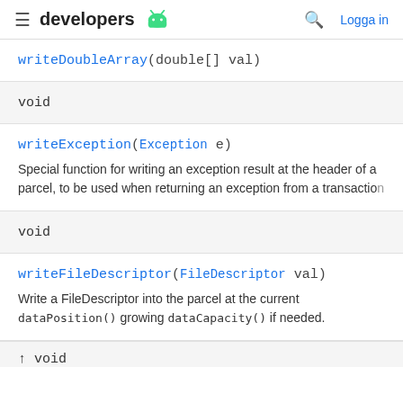developers [android logo] | [search] Logga in
writeDoubleArray(double[] val)
void
writeException(Exception e)
Special function for writing an exception result at the header of a parcel, to be used when returning an exception from a transaction
void
writeFileDescriptor(FileDescriptor val)
Write a FileDescriptor into the parcel at the current dataPosition() growing dataCapacity() if needed.
↑ void